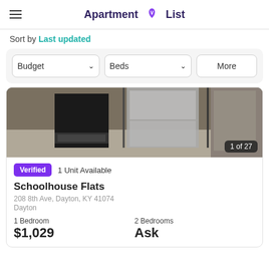Apartment List
Sort by Last updated
Budget | Beds | More
[Figure (photo): Interior photo of an apartment kitchen showing stainless steel appliances including a refrigerator and oven/range. Image counter shows '1 of 27'.]
Verified  1 Unit Available
Schoolhouse Flats
208 8th Ave, Dayton, KY 41074
Dayton
1 Bedroom   $1,029
2 Bedrooms  Ask